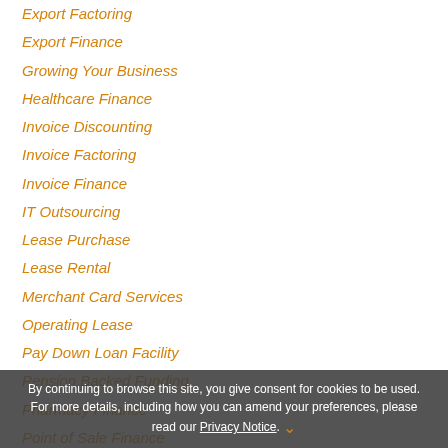Export Factoring
Export Finance
Growing Your Business
Healthcare Finance
Invoice Discounting
Invoice Factoring
Invoice Finance
IT Outsourcing
Lease Purchase
Lease Rental
Merchant Card Services
Operating Lease
Pay Down Loan Facility
Pension Backed Funding
Pharmacy Finance
Point of Sale Finance
Portfolio Management
By continuing to browse this site, you give consent for cookies to be used. For more details, including how you can amend your preferences, please read our Privacy Notice.